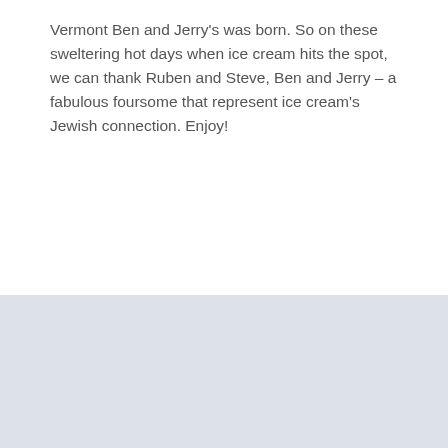Vermont Ben and Jerry's was born. So on these sweltering hot days when ice cream hits the spot, we can thank Ruben and Steve, Ben and Jerry – a fabulous foursome that represent ice cream's Jewish connection. Enjoy!
0 Comments
[Figure (other): Light gray/blue footer background area]